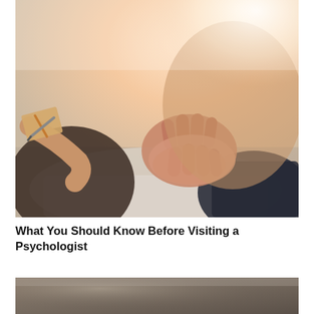[Figure (photo): Close-up photo of a therapy session: a patient with clasped/interlocked hands sitting across from a therapist who is holding a clipboard or pen. Warm, blurred background with natural light. Foreground shows the patient's hands clasped together and the therapist's hand holding a pen/clipboard on the left side.]
What You Should Know Before Visiting a Psychologist
[Figure (photo): Partial photo (bottom of page, cropped): appears to show a blurred desk or table surface with soft focus, likely related to a second article below.]